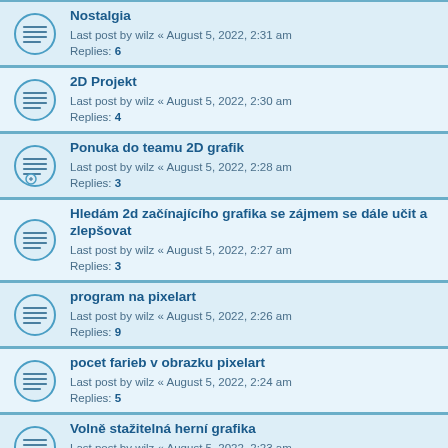Nostalgia
Last post by wilz « August 5, 2022, 2:31 am
Replies: 6
2D Projekt
Last post by wilz « August 5, 2022, 2:30 am
Replies: 4
Ponuka do teamu 2D grafik
Last post by wilz « August 5, 2022, 2:28 am
Replies: 3
Hledám 2d začínajícího grafika se zájmem se dále učit a zlepšovat
Last post by wilz « August 5, 2022, 2:27 am
Replies: 3
program na pixelart
Last post by wilz « August 5, 2022, 2:26 am
Replies: 9
pocet farieb v obrazku pixelart
Last post by wilz « August 5, 2022, 2:24 am
Replies: 5
Volně stažitelná herní grafika
Last post by wilz « August 5, 2022, 2:23 am
Replies: 8
mmc galerie
Last post by wilz « August 5, 2022, 2:22 am
Replies: 6
Mohl by sem někdo dat tutoriál na PX
Last post by wilz « August 5, 2022, 2:21 am
Replies: 8